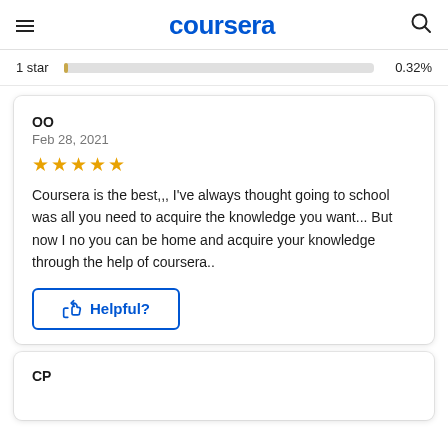coursera
1 star   0.32%
OO
Feb 28, 2021
★★★★★
Coursera is the best,,, I've always thought going to school was all you need to acquire the knowledge you want... But now I no you can be home and acquire your knowledge through the help of coursera..
Helpful?
CP